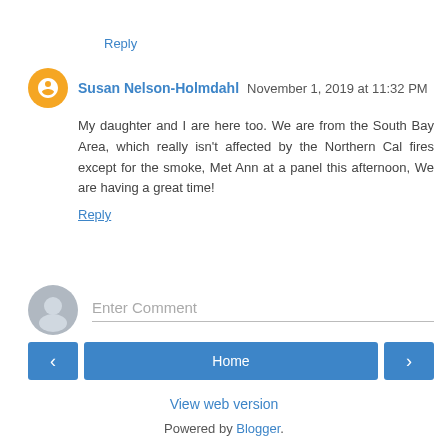Reply
Susan Nelson-Holmdahl  November 1, 2019 at 11:32 PM
My daughter and I are here too. We are from the South Bay Area, which really isn't affected by the Northern Cal fires except for the smoke, Met Ann at a panel this afternoon, We are having a great time!
Reply
[Figure (other): Enter Comment input field with gray avatar icon]
< Home > View web version Powered by Blogger.